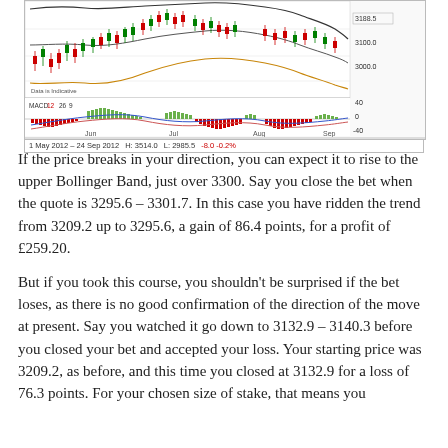[Figure (continuous-plot): Candlestick price chart with Bollinger Bands (upper, middle, lower) overlaid, showing price action from 1 May 2012 to 24 Sep 2012. Price range approximately 2985–3514. Below is a MACD indicator panel (12 26 9) with signal line and histogram bars (green above, red below). X-axis labels: Jun, Jul, Aug, Sep. Price axis on right: 3188.5, 3100.0, 3000.0. MACD axis: 40, 0, -40. Footer: '1 May 2012 – 24 Sep 2012 H: 3514.0 L: 2985.5 -8.0 -0.2%'. Label 'Data is Indicative' in top-left of chart.]
If the price breaks in your direction, you can expect it to rise to the upper Bollinger Band, just over 3300. Say you close the bet when the quote is 3295.6 – 3301.7. In this case you have ridden the trend from 3209.2 up to 3295.6, a gain of 86.4 points, for a profit of £259.20.
But if you took this course, you shouldn't be surprised if the bet loses, as there is no good confirmation of the direction of the move at present. Say you watched it go down to 3132.9 – 3140.3 before you closed your bet and accepted your loss. Your starting price was 3209.2, as before, and this time you closed at 3132.9 for a loss of 76.3 points. For your chosen size of stake, that means you